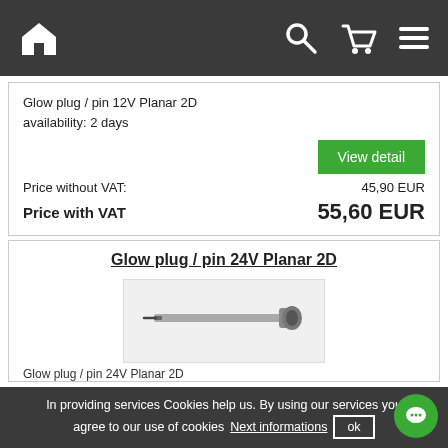Navigation bar with home, search, cart, and menu icons
Glow plug / pin 12V Planar 2D
availability: 2 days
View detail
Price without VAT: 45,90 EUR
Price with VAT 55,60 EUR
Glow plug / pin 24V Planar 2D
[Figure (photo): Photo of glow plug / pin for 24V Planar 2D heater]
Glow plug / pin 24V Planar 2D
In providing services Cookies help us. By using our services you agree to our use of cookies  Next informations  ok